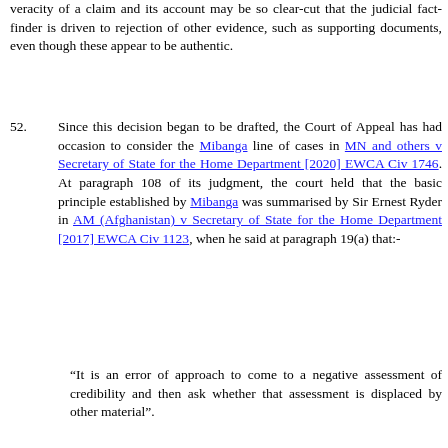veracity of a claim and its account may be so clear-cut that the judicial fact-finder is driven to rejection of other evidence, such as supporting documents, even though these appear to be authentic.
52.   Since this decision began to be drafted, the Court of Appeal has had occasion to consider the Mibanga line of cases in MN and others v Secretary of State for the Home Department [2020] EWCA Civ 1746. At paragraph 108 of its judgment, the court held that the basic principle established by Mibanga was summarised by Sir Ernest Ryder in AM (Afghanistan) v Secretary of State for the Home Department [2017] EWCA Civ 1123, when he said at paragraph 19(a) that:-
“It is an error of approach to come to a negative assessment of credibility and then ask whether that assessment is displaced by other material”.